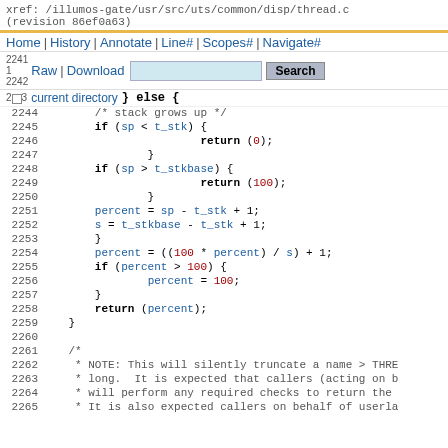xref: /illumos-gate/usr/src/uts/common/disp/thread.c (revision 86ef0a63)
Home | History | Annotate | Line# | Scopes# | Navigate#
Raw | Download  [search box]  Search
current directory
[Figure (screenshot): Source code viewer showing C code lines 2241-2265 from /illumos-gate/usr/src/uts/common/disp/thread.c]
2241  } else {
2242
2243  } else {
2244          /* stack grows up */
2245          if (sp < t_stk) {
2246                  return (0);
2247          }
2248          if (sp > t_stkbase) {
2249                  return (100);
2250          }
2251          percent = sp - t_stk + 1;
2252          s = t_stkbase - t_stk + 1;
2253  }
2254          percent = ((100 * percent) / s) + 1;
2255          if (percent > 100) {
2256                  percent = 100;
2257          }
2258          return (percent);
2259  }
2260
2261  /*
2262   * NOTE: This will silently truncate a name > THRE
2263   * long.  It is expected that callers (acting on b
2264   * will perform any required checks to return the
2265   * It is also expected callers on behalf of userla